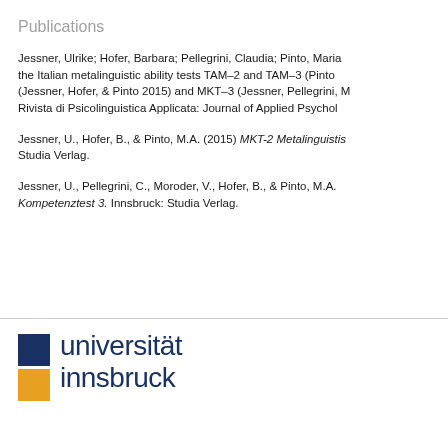Publications
Jessner, Ulrike; Hofer, Barbara; Pellegrini, Claudia; Pinto, Maria the Italian metalinguistic ability tests TAM–2 and TAM–3 (Pinto (Jessner, Hofer, & Pinto 2015) and MKT–3 (Jessner, Pellegrini, M Rivista di Psicolinguistica Applicata: Journal of Applied Psychol
Jessner, U., Hofer, B., & Pinto, M.A. (2015) MKT-2 Metalinguistis Studia Verlag.
Jessner, U., Pellegrini, C., Moroder, V., Hofer, B., & Pinto, M.A. Kompetenztest 3. Innsbruck: Studia Verlag.
[Figure (logo): Universität Innsbruck logo with dark blue square and orange square beside the text 'universität innsbruck' in dark blue]